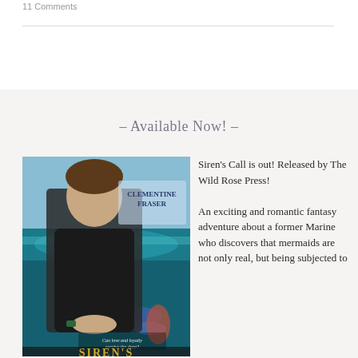11 Comments
- Available Now! -
[Figure (photo): Book cover of Siren's Call by Clementine Fraser, showing a man in a black shirt near ocean water with a mermaid tail visible]
Siren's Call is out! Released by The Wild Rose Press! An exciting and romantic fantasy adventure about a former Marine who discovers that mermaids are not only real, but being subjected to